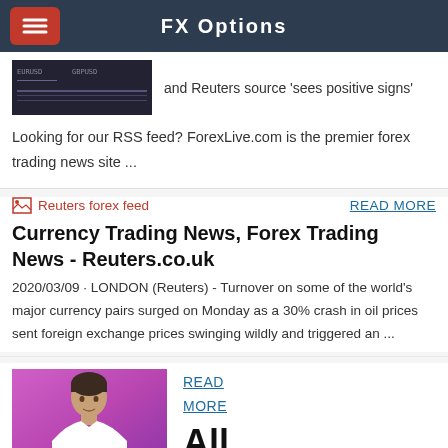FX Options
and Reuters source 'sees positive signs'
Looking for our RSS feed? ForexLive.com is the premier forex trading news site ...
[Figure (photo): Reuters forex feed broken image icon with label text]
READ MORE
Currency Trading News, Forex Trading News - Reuters.co.uk
2020/03/09 · LONDON (Reuters) - Turnover on some of the world's major currency pairs surged on Monday as a 30% crash in oil prices sent foreign exchange prices swinging wildly and triggered an ...
[Figure (photo): Photo of a man in a white shirt against a purple background]
READ MORE
All